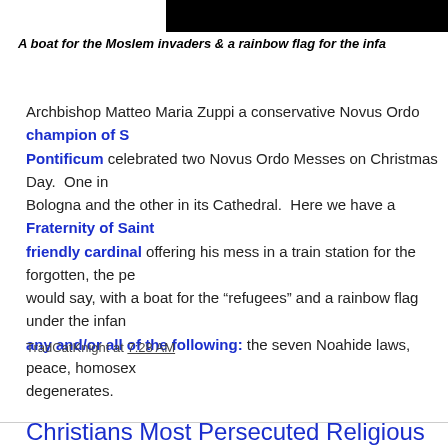[Figure (photo): Black rectangle image at top of page]
A boat for the Moslem invaders & a rainbow flag for the infa...
Archbishop Matteo Maria Zuppi a conservative Novus Ordo champion of S... Pontificum celebrated two Novus Ordo Messes on Christmas Day. One in Bologna and the other in its Cathedral. Here we have a Fraternity of Saint... friendly cardinal offering his mess in a train station for the forgotten, the pe... would say, with a boat for the “refugees” and a rainbow flag under the infan... any and/or all of the following: the seven Noahide laws, peace, homosex... degenerates.
TradCatKnight at 7:28 AM
Share
Christians Most Persecuted Religious